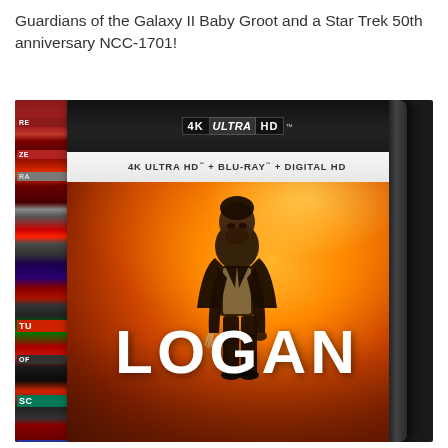Guardians of the Galaxy II Baby Groot and a Star Trek 50th anniversary NCC-1701!
[Figure (photo): Photo of a Logan 4K Ultra HD + Blu-Ray + Digital HD movie case. The case has a black top bar with the 4K Ultra HD logo, a white banner reading '4K ULTRA HD + BLU-RAY + DIGITAL HD', and a movie cover showing a man standing in front of a fiery orange background with the title 'LOGAN' in large white letters. On the left side of the photo is a stack of other Blu-ray/DVD cases.]